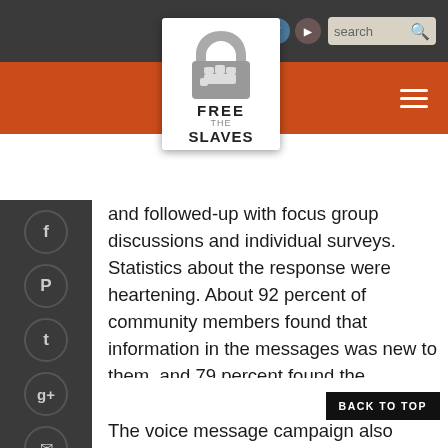[Figure (logo): Free the Slaves organization logo — white padlock with fist icon, text FREE THE SLAVES]
Navigation bar with social icons (Facebook, Twitter, Vimeo, YouTube) and search box
[Figure (infographic): Social media sharing sidebar with Facebook, Pinterest, Twitter, Google+, and Email icons]
and followed-up with focus group discussions and individual surveys. Statistics about the response were heartening. About 92 percent of community members found that information in the messages was new to them, and 79 percent found the information useful and applicable to their situations. Most participants could recall that messages stated bonded labor is illegal in India, a fact that many people did not know.
The voice message campaign also